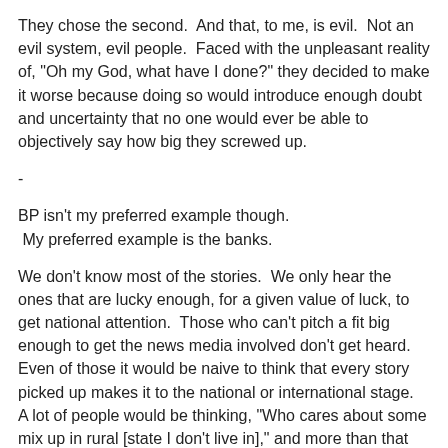They chose the second.  And that, to me, is evil.  Not an evil system, evil people.  Faced with the unpleasant reality of, "Oh my God, what have I done?" they decided to make it worse because doing so would introduce enough doubt and uncertainty that no one would ever be able to objectively say how big they screwed up.
-
BP isn't my preferred example though.
 My preferred example is the banks.
We don't know most of the stories.  We only hear the ones that are lucky enough, for a given value of luck, to get national attention.  Those who can't pitch a fit big enough to get the news media involved don't get heard.  Even of those it would be naive to think that every story picked up makes it to the national or international stage.  A lot of people would be thinking, "Who cares about some mix up in rural [state I don't live in]," and more than that it's reached the point where the stories are probably not considered newsworthy anymore.